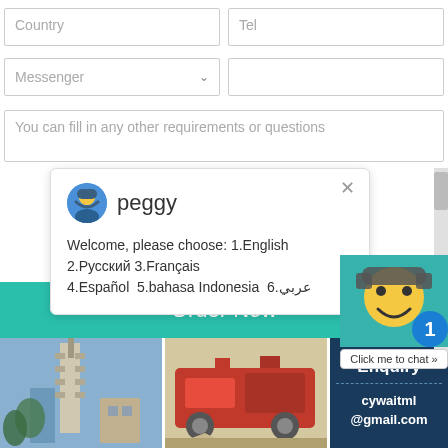[Figure (screenshot): Web contact form with Country and Tel input fields]
[Figure (screenshot): Web contact form with Messenger dropdown and blank text input]
[Figure (screenshot): Textarea with placeholder: You can fill in any other requirements or questions]
[Figure (screenshot): Chat popup from agent named peggy with language selection message: Welcome, please choose: 1.English 2.Русский 3.Français 4.Español 5.bahasa Indonesia 6.عربي]
Order Now
[Figure (screenshot): Smiley face chat widget with badge showing 1 and Click me to chat button]
[Figure (photo): Industrial building or cement plant tower]
[Figure (photo): Red industrial crusher or mining equipment]
Enquiry
cywaitml
@gmail.com